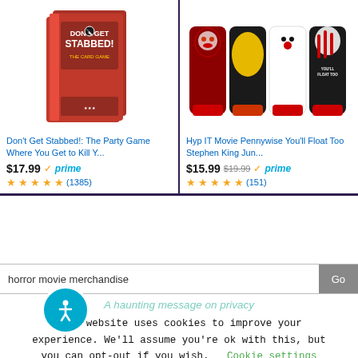[Figure (screenshot): Amazon product listing for 'Don't Get Stabbed!: The Party Game Where You Get to Kill Y...' showing red board game box]
Don't Get Stabbed!: The Party Game Where You Get to Kill Y...
$17.99 prime (1385)
[Figure (screenshot): Amazon product listing for 'Hyp IT Movie Pennywise You'll Float Too Stephen King Jun...' showing horror-themed socks]
Hyp IT Movie Pennywise You'll Float Too Stephen King Jun...
$15.99 $19.99 prime (151)
horror movie merchandise
A haunting message on privacy
This website uses cookies to improve your experience. We'll assume you're ok with this, but you can opt-out if you wish. Cookie settings
ACCEPT